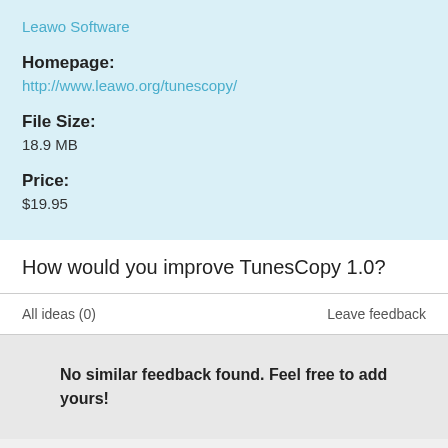Leawo Software
Homepage:
http://www.leawo.org/tunescopy/
File Size:
18.9 MB
Price:
$19.95
How would you improve TunesCopy 1.0?
All ideas (0)
Leave feedback
No similar feedback found. Feel free to add yours!
Leave feedback